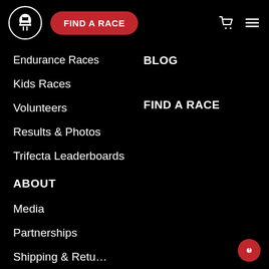[Figure (logo): Spartan race logo — white Spartan helmet in a circle outline]
FIND A RACE
Endurance Races
BLOG
Kids Races
FIND A RACE
Volunteers
Results & Photos
Trifecta Leaderboards
ABOUT
Media
Partnerships
Shipping & Returns